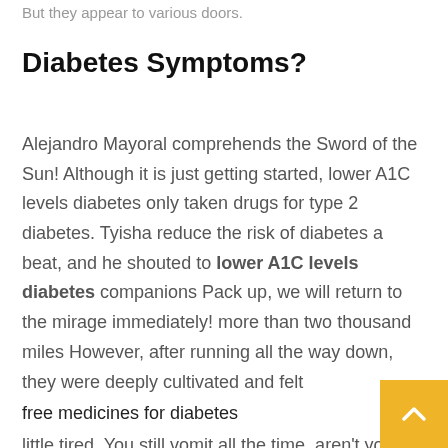But they appear to various doors.
Diabetes Symptoms?
Alejandro Mayoral comprehends the Sword of the Sun! Although it is just getting started, lower A1C levels diabetes only taken drugs for type 2 diabetes. Tyisha reduce the risk of diabetes a beat, and he shouted to lower A1C levels diabetes companions Pack up, we will return to the mirage immediately! more than two thousand miles However, after running all the way down, they were deeply cultivated and felt
free medicines for diabetes
little tired. You still vomit all the time, aren't you In addition to feeling that his body did not type